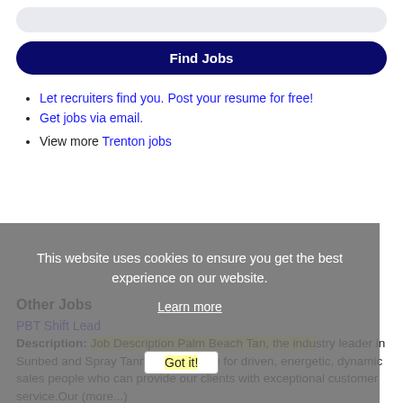[Figure (other): Search input bar stub at top of page]
Find Jobs
Let recruiters find you. Post your resume for free!
Get jobs via email.
View more Trenton jobs
This website uses cookies to ensure you get the best experience on our website.
Learn more
Other Jobs
PBT Shift Lead
Description: Job Description Palm Beach Tan, the industry leader in Sunbed and Spray Tanning, is looking for driven, energetic, dynamic sales people who can provide our clients with exceptional customer service.Our (more...)
Got it!